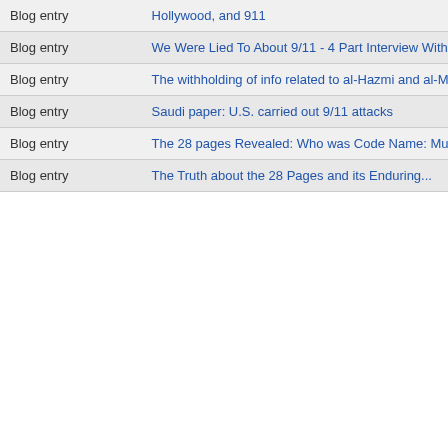| Type | Title | Author | Comments | Date |
| --- | --- | --- | --- | --- |
| Blog entry | Hollywood, and 911 |  |  | 2016-0... |
| Blog entry | We Were Lied To About 9/11 - 4 Part Interview With Paul Thompson | Jon Gold |  | 2016-0... |
| Blog entry | The withholding of info related to al-Hazmi and al-Mihdhar | noise |  | 2016-0... |
| Blog entry | Saudi paper: U.S. carried out 9/11 attacks | JTL | 18 | 2016-0... |
| Blog entry | The 28 pages Revealed: Who was Code Name: Muppet? | jimd3100 | 1 | 2016-0... |
| Blog entry | The Truth about the 28 Pages and its Enduring... | dianacastillo |  | 2016-0... |
Revealed: 9/11 Suspects - Saudi Arabia - 9/11 Connection With Senator Bob Graham
Meet Lee Harvey Oswald: Sheep-Dipped Patsy. Published on Nov 15,